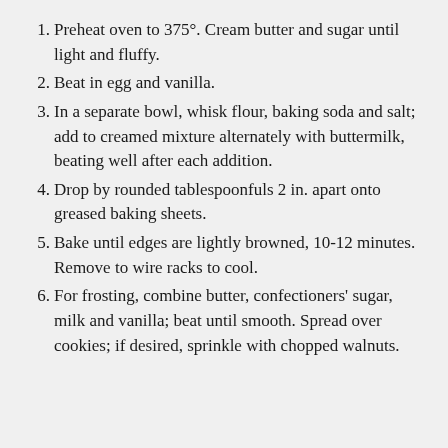Preheat oven to 375°. Cream butter and sugar until light and fluffy.
Beat in egg and vanilla.
In a separate bowl, whisk flour, baking soda and salt; add to creamed mixture alternately with buttermilk, beating well after each addition.
Drop by rounded tablespoonfuls 2 in. apart onto greased baking sheets.
Bake until edges are lightly browned, 10-12 minutes. Remove to wire racks to cool.
For frosting, combine butter, confectioners' sugar, milk and vanilla; beat until smooth. Spread over cookies; if desired, sprinkle with chopped walnuts.